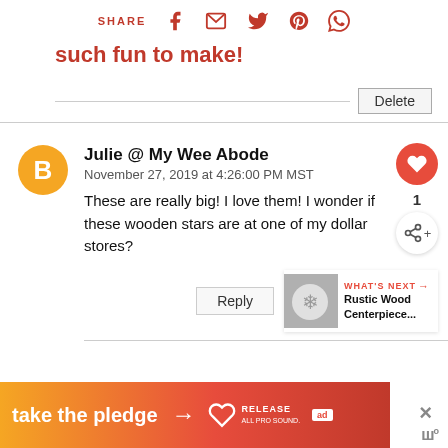SHARE [social icons: Facebook, Email, Twitter, Pinterest, WhatsApp]
such fun to make!
Delete
Julie @ My Wee Abode
November 27, 2019 at 4:26:00 PM MST
These are really big! I love them! I wonder if these wooden stars are at one of my dollar stores?
Reply
[Figure (screenshot): What's Next panel showing Rustic Wood Centerpiece thumbnail]
[Figure (infographic): Take the pledge ad banner with gradient orange-to-red background, arrow, Release logo, and ad badge]